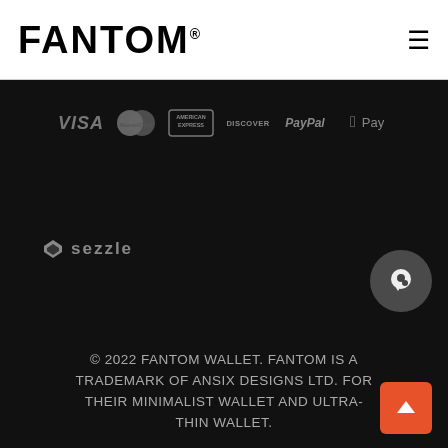[Figure (logo): FANTOM logo in bold black text with registered trademark symbol on white header bar]
[Figure (infographic): Payment method logos on dark background: VISA, MasterCard, American Express, Discover, PayPal, Apple Pay, and Sezzle]
© 2022 FANTOM WALLET. FANTOM IS A TRADEMARK OF ANSIX DESIGNS LTD. FOR THEIR MINIMALIST WALLET AND ULTRA-THIN WALLET.